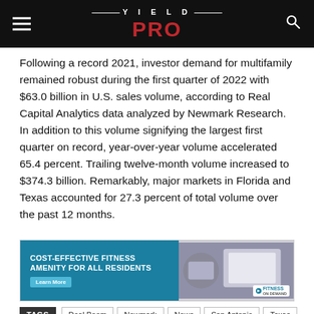YIELD PRO
Following a record 2021, investor demand for multifamily remained robust during the first quarter of 2022 with $63.0 billion in U.S. sales volume, according to Real Capital Analytics data analyzed by Newmark Research. In addition to this volume signifying the largest first quarter on record, year-over-year volume accelerated 65.4 percent. Trailing twelve-month volume increased to $374.3 billion. Remarkably, major markets in Florida and Texas accounted for 27.3 percent of total volume over the past 12 months.
[Figure (advertisement): Cost-effective fitness amenity for all residents – Fitness On Demand advertisement banner with teal/blue background and woman using tablet on right side]
TAGS  Deal Boom  Newmark  News  San Antonio  Texas